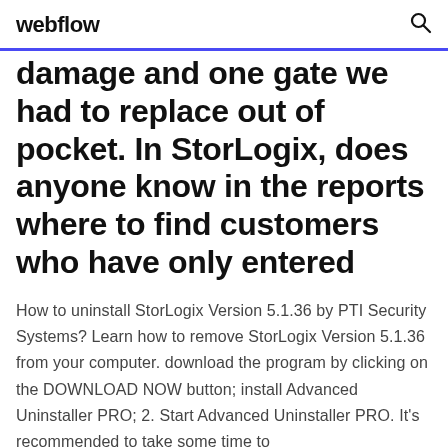webflow
damage and one gate we had to replace out of pocket. In StorLogix, does anyone know in the reports where to find customers who have only entered
How to uninstall StorLogix Version 5.1.36 by PTI Security Systems? Learn how to remove StorLogix Version 5.1.36 from your computer. download the program by clicking on the DOWNLOAD NOW button; install Advanced Uninstaller PRO; 2. Start Advanced Uninstaller PRO. It's recommended to take some time to